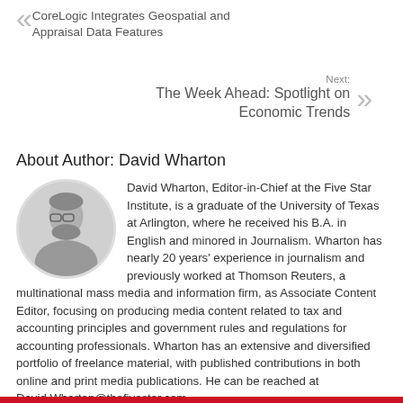CoreLogic Integrates Geospatial and Appraisal Data Features
Next: The Week Ahead: Spotlight on Economic Trends
About Author: David Wharton
[Figure (photo): Black and white circular portrait photo of David Wharton, a middle-aged man with glasses and a beard]
David Wharton, Editor-in-Chief at the Five Star Institute, is a graduate of the University of Texas at Arlington, where he received his B.A. in English and minored in Journalism. Wharton has nearly 20 years' experience in journalism and previously worked at Thomson Reuters, a multinational mass media and information firm, as Associate Content Editor, focusing on producing media content related to tax and accounting principles and government rules and regulations for accounting professionals. Wharton has an extensive and diversified portfolio of freelance material, with published contributions in both online and print media publications. He can be reached at David.Wharton@thefivestar.com.